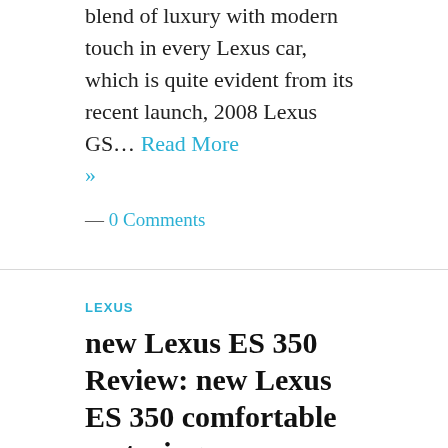blend of luxury with modern touch in every Lexus car, which is quite evident from its recent launch, 2008 Lexus GS… Read More »
— 0 Comments
LEXUS
new Lexus ES 350 Review: new Lexus ES 350 comfortable motoring
April 25, 2008
The unprecedented rise in the popularity of